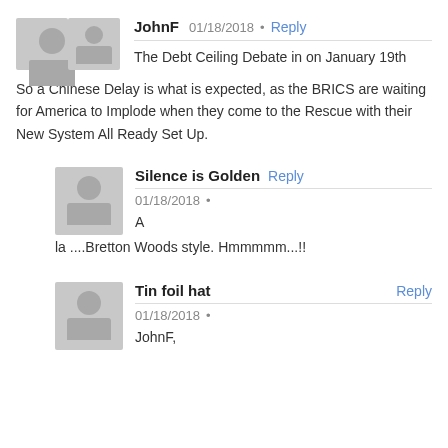[Figure (illustration): Gray avatar placeholder for user JohnF]
JohnF   01/18/2018  •  Reply
The Debt Ceiling Debate in on January 19th
So a Chinese Delay is what is expected, as the BRICS are waiting for America to Implode when they come to the Rescue with their New System All Ready Set Up.
[Figure (illustration): Gray avatar placeholder for user Silence is Golden]
Silence is Golden  Reply
01/18/2018  •
A
la ....Bretton Woods style. Hmmmmm...!!
[Figure (illustration): Gray avatar placeholder for user Tin foil hat]
Tin foil hat  Reply
01/18/2018  •
JohnF,